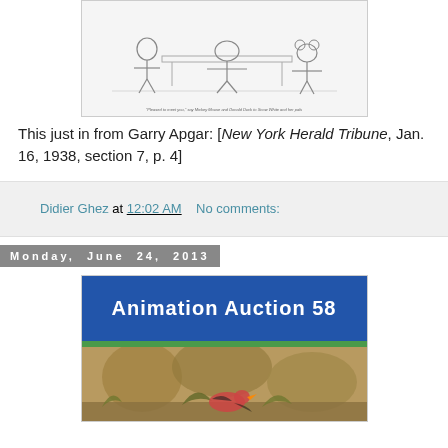[Figure (illustration): Black and white cartoon illustration showing Disney characters including Mickey Mouse and Donald Duck with a person at a desk. Caption reads: 'Pleased to meet you,' say Mickey Mouse and Donald Duck to Snow White and her pals]
This just in from Garry Apgar: [New York Herald Tribune, Jan. 16, 1938, section 7, p. 4]
Didier Ghez at 12:02 AM    No comments:
Monday, June 24, 2013
[Figure (illustration): Animation Auction 58 promotional image with blue header and nature scene below]